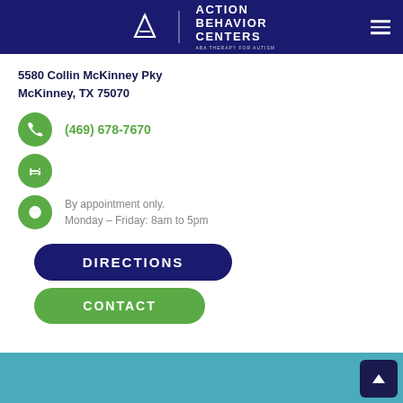[Figure (logo): Action Behavior Centers logo with stylized 'A' icon and text 'ACTION BEHAVIOR CENTERS' on dark navy background with tagline]
5580 Collin McKinney Pky
McKinney, TX 75070
(469) 678-7670
By appointment only.
Monday – Friday: 8am to 5pm
DIRECTIONS
CONTACT